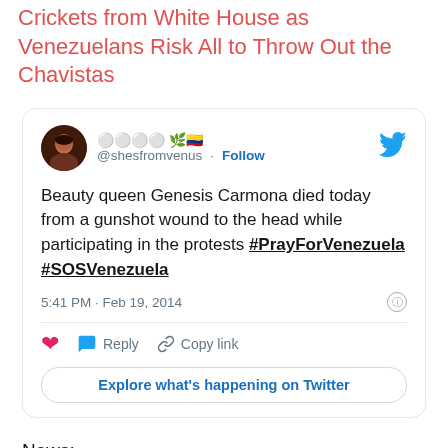Crickets from White House as Venezuelans Risk All to Throw Out the Chavistas
[Figure (screenshot): Embedded tweet from @shesfromvenus with emoji in display name, posting about beauty queen Genesis Carmona dying from a gunshot wound to the head while participating in protests, with hashtags #PrayForVenezuela #SOSVenezuela. Timestamp: 5:41 PM · Feb 19, 2014. Tweet card includes heart, reply, copy link actions and Explore what's happening on Twitter button.]
News:
Venezuelans gather for Lopez